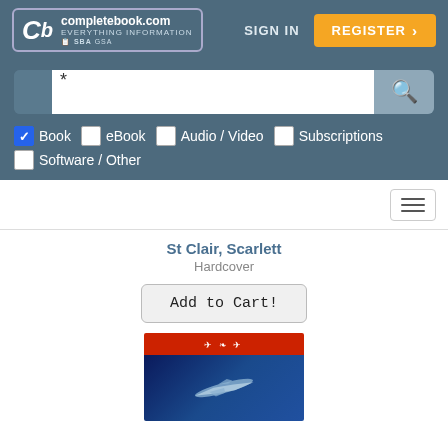[Figure (logo): completebook.com logo with 'Cb' letters and tagline 'EVERYTHING INFORMATION', SBA GSA badges]
SIGN IN
REGISTER >
*
Book (checked), eBook, Audio / Video, Subscriptions, Software / Other
[Figure (screenshot): Hamburger menu icon button]
St Clair, Scarlett
Hardcover
Add to Cart!
[Figure (photo): Book cover with red top band with wing logo and blue bottom section with aircraft silhouette]